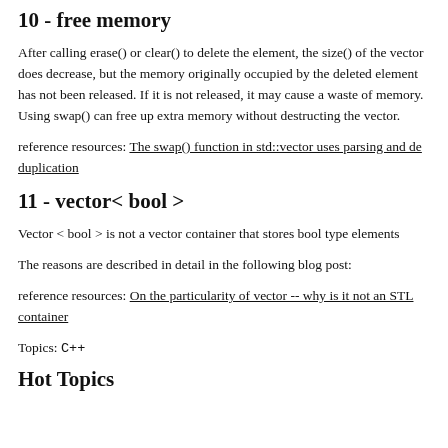10 - free memory
After calling erase() or clear() to delete the element, the size() of the vector does decrease, but the memory originally occupied by the deleted element has not been released. If it is not released, it may cause a waste of memory. Using swap() can free up extra memory without destructing the vector.
reference resources: The swap() function in std::vector uses parsing and de duplication
11 - vector< bool >
Vector < bool > is not a vector container that stores bool type elements
The reasons are described in detail in the following blog post:
reference resources: On the particularity of vector -- why is it not an STL container
Topics: C++
Hot Topics